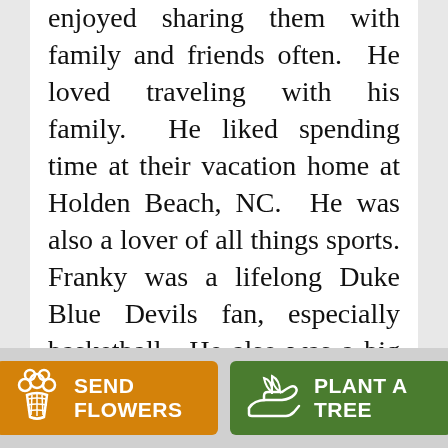enjoyed sharing them with family and friends often.  He loved traveling with his family.  He liked spending time at their vacation home at Holden Beach, NC.  He was also a lover of all things sports.  Franky was a lifelong Duke Blue Devils fan, especially basketball.  He also was a big Carolina Panthers Fan.  Being an original PSL holder, attending all home Carolina Panthers games and was known to be a Tailgating Extraordinaire!  His specialties while tailgating were "Franky's Steaks" and "Franky Cold Beer".  Annually, he and a few friends would travel to a different baseball venue
SEND FLOWERS
PLANT A TREE